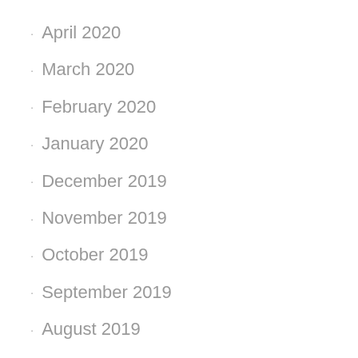April 2020
March 2020
February 2020
January 2020
December 2019
November 2019
October 2019
September 2019
August 2019
March 2019
February 2019
January 2019